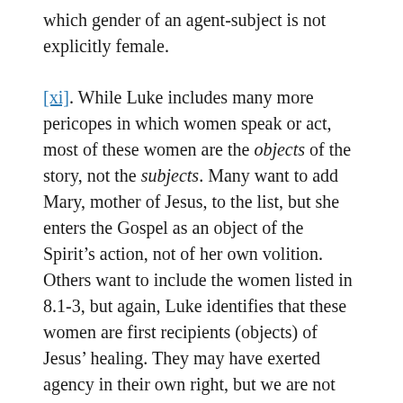which gender of an agent-subject is not explicitly female.
[xi]. While Luke includes many more pericopes in which women speak or act, most of these women are the objects of the story, not the subjects. Many want to add Mary, mother of Jesus, to the list, but she enters the Gospel as an object of the Spirit’s action, not of her own volition. Others want to include the women listed in 8.1-3, but again, Luke identifies that these women are first recipients (objects) of Jesus’ healing. They may have exerted agency in their own right, but we are not afforded their stories. For more on this, see Barbara E. Reid, Choosing the Better Part? Women in the Gospel of